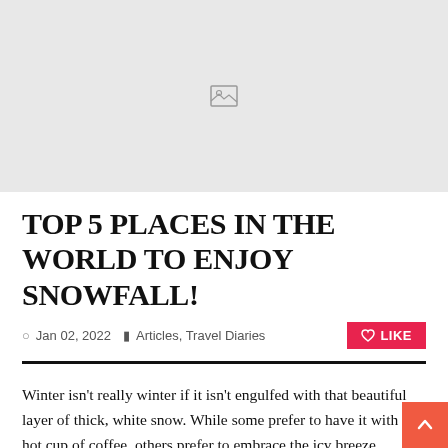[Figure (photo): Placeholder image with broken image icon on light grey background]
TOP 5 PLACES IN THE WORLD TO ENJOY SNOWFALL!
Jan 02, 2022   Articles, Travel Diaries
Winter isn't really winter if it isn't engulfed with that beautiful layer of thick, white snow. While some prefer to have it with a hot cup of coffee, others prefer to embrace the icy breeze through long drives. But whatever it may be, there are some places which are gifted by God to bathe by the absolutely with snowfall.